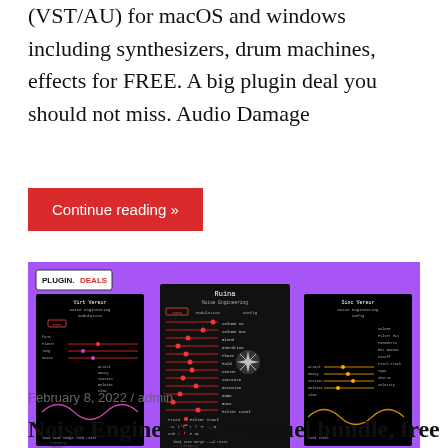(VST/AU) for macOS and windows including synthesizers, drum machines, effects for FREE. A big plugin deal you should not miss. Audio Damage
Continue reading »
[Figure (screenshot): Screenshot of Plugin.Deals promotional image showing three panels of Noise Engineering plugins (Virt Vereor, Ruina, Sinc Vereor) with black UI panels on a purple background. The center panel shows 'Ruina / Noise Engineering' with Tone, Modulation, Config tabs and sliders for Volume In, Volume Out, Blend, Overdrive, Phase, Fold, Center, Saturate, Octavize, Dome, Buzz, Filter Level, Filter Track, Filter Type, Flow controls.]
February 8, 2022  /  admin
Noise Engineering Freequel bundle, free